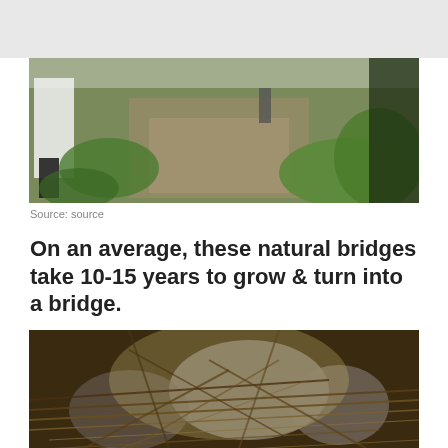[Figure (photo): Person walking on a stone path surrounded by lush green vegetation and large leafy plants, with another person visible in the background near a dark water feature or rock face]
Source: source
On an average, these natural bridges take 10-15 years to grow & turn into a bridge.
[Figure (photo): Dense network of tangled tree roots and vines forming a natural bridge structure over rocks and boulders in a forest setting]